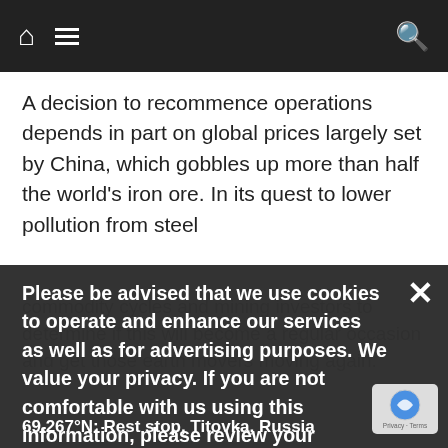Navigation bar with home icon, menu icon, and search icon
A decision to recommence operations depends in part on global prices largely set by China, which gobbles up more than half the world’s iron ore. In its quest to lower pollution from steel
Please be advised that we use cookies to operate and enhance our services as well as for advertising purposes. We value your privacy. If you are not comfortable with us using this information, please review your settings before continuing your visit.
Manage your navigation settings
Find out more
commodity cycles and mining investors to determine if this will become a regular occasion and get those earth movers moving again.
69.267°N: Rest stop, Titovka, Russia